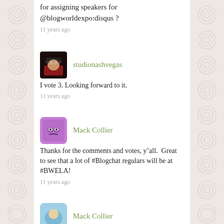for assigning speakers for @blogworldexpo:disqus ?
11 years ago
studionashvegas
I vote 3.  Looking forward to it.
11 years ago
Mack Collier
Thanks for the comments and votes, y’all.  Great to see that a lot of #Blogchat regulars will be at #BWELA!
11 years ago
Mack Collier